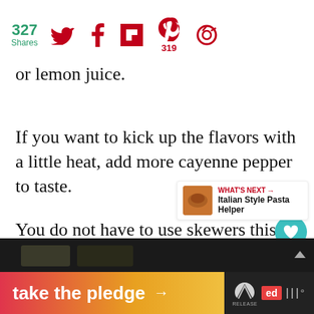327 Shares [social share icons: Twitter, Facebook, Flipboard, Pinterest (319), other]
or lemon juice.
If you want to kick up the flavors with a little heat, add more cayenne pepper to taste.
You do not have to use skewers this can be pan-fried, baked, or air fried.
[Figure (screenshot): Ad banner at bottom: 'take the pledge' with arrow, Release logo, Ed logo, and music app bars]
WHAT'S NEXT → Italian Style Pasta Helper